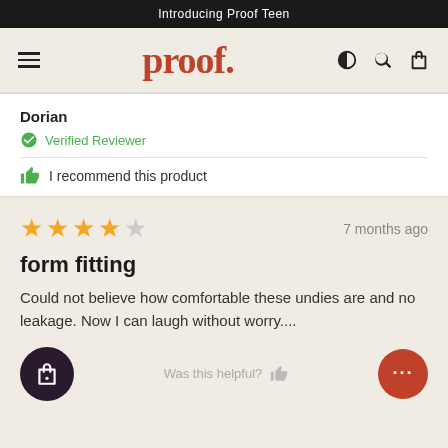Introducing Proof Teen
[Figure (logo): proof. brand logo with hamburger menu, contrast, search, and cart icons]
Dorian
Verified Reviewer
I recommend this product
7 months ago
form fitting
Could not believe how comfortable these undies are and no leakage. Now I can laugh without worry....
Was this helpful?